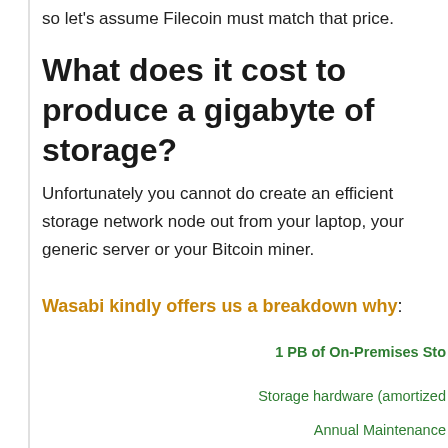so let's assume Filecoin must match that price.
What does it cost to produce a gigabyte of storage?
Unfortunately you cannot do create an efficient storage network node out from your laptop, your generic server or your Bitcoin miner.
Wasabi kindly offers us a breakdown why:
| 1 PB of On-Premises Sto... |
| --- |
| Storage hardware (amortized... |
| Annual Maintenance |